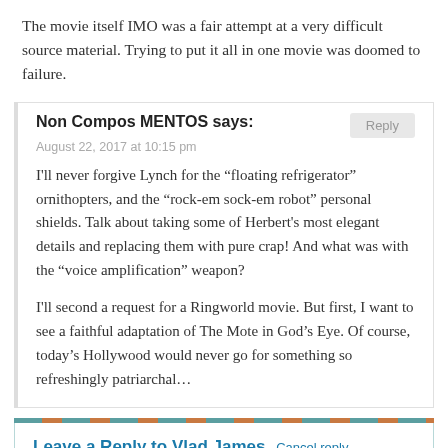The movie itself IMO was a fair attempt at a very difficult source material. Trying to put it all in one movie was doomed to failure.
Non Compos MENTOS says:
August 22, 2017 at 10:15 pm

I'll never forgive Lynch for the “floating refrigerator” ornithopters, and the “rock-em sock-em robot” personal shields. Talk about taking some of Herbert's most elegant details and replacing them with pure crap! And what was with the “voice amplification” weapon?

I'll second a request for a Ringworld movie. But first, I want to see a faithful adaptation of The Mote in God’s Eye. Of course, today’s Hollywood would never go for something so refreshingly patriarchal…
Leave a Reply to Vlad James Cancel reply
Your email address will not be published. Required fields